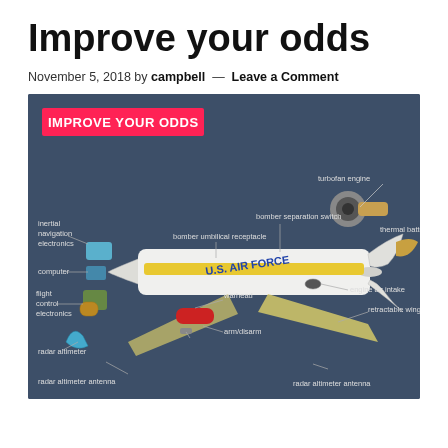Improve your odds
November 5, 2018 by campbell — Leave a Comment
[Figure (illustration): Exploded diagram of a U.S. Air Force cruise missile showing labeled components: inertial navigation electronics, bomber separation switch, turbofan engine, thermal battery, bomber umbilical receptacle, computer, flight control electronics, engine air intake, retractable wings, warhead, arm/disarm, radar altimeter, radar altimeter antenna (×2). A red banner reads 'IMPROVE YOUR ODDS'.]